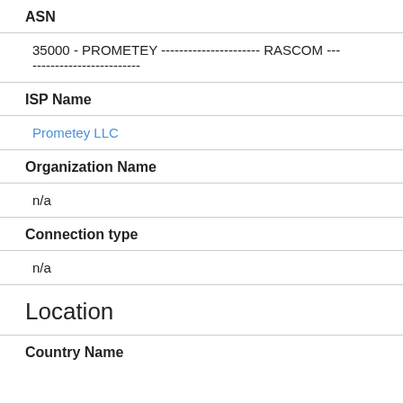ASN
35000 - PROMETEY ---------------------- RASCOM --- ------------------------
ISP Name
Prometey LLC
Organization Name
n/a
Connection type
n/a
Location
Country Name